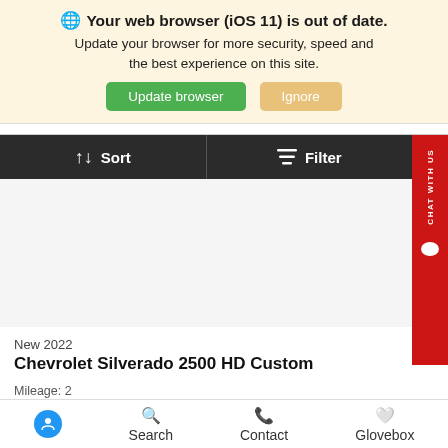🌐 Your web browser (iOS 11) is out of date. Update your browser for more security, speed and the best experience on this site. Update browser | Ignore
[Figure (screenshot): Sort and Filter toolbar with dark background, and red Chat With Us tab on right side]
New 2022
Chevrolet Silverado 2500 HD Custom
Mileage: 2
Exterior: Greenstone Metallic
Interior: Jet Black, Cloth seat trim
[Figure (other): Value Your Trade button (gold/bronze rounded button)]
Accessibility  Search  Contact  Glovebox